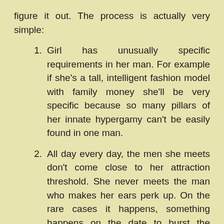figure it out. The process is actually very simple:
Girl has unusually specific requirements in her man. For example if she's a tall, intelligent fashion model with family money she'll be very specific because so many pillars of her innate hypergamy can't be easily found in one man.
All day every day, the men she meets don't come close to her attraction threshold. She never meets the man who makes her ears perk up. On the rare cases it happens, something happens on the date to burst the bubble and disappoint her.